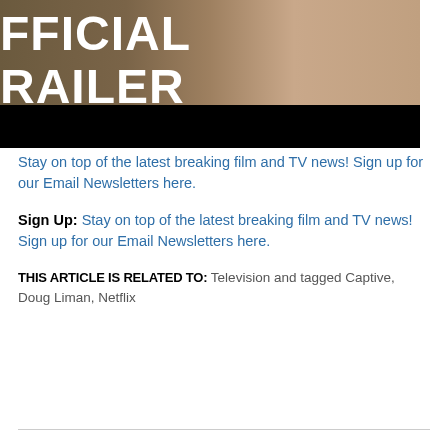[Figure (screenshot): Screenshot of a video thumbnail showing text 'FFICIAL RAILER' (partial, cropped) over a wooden/bokeh background with a person's face visible on the right. Below the image is a solid black bar (video player controls area).]
Stay on top of the latest breaking film and TV news! Sign up for our Email Newsletters here.
Sign Up: Stay on top of the latest breaking film and TV news! Sign up for our Email Newsletters here.
THIS ARTICLE IS RELATED TO: Television and tagged Captive, Doug Liman, Netflix